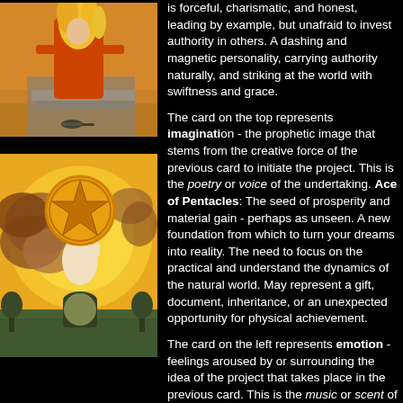[Figure (illustration): Tarot card illustration showing a robed figure with golden hair/flames standing on stone steps in a desert landscape with a lizard visible]
is forceful, charismatic, and honest, leading by example, but unafraid to invest authority in others. A dashing and magnetic personality, carrying authority naturally, and striking at the world with swiftness and grace.
[Figure (illustration): Tarot card illustration showing the Ace of Pentacles - a hand emerging from clouds holding a large glowing pentacle/star symbol against a golden sun background with green landscape below]
The card on the top represents imagination - the prophetic image that stems from the creative force of the previous card to initiate the project. This is the poetry or voice of the undertaking. Ace of Pentacles: The seed of prosperity and material gain - perhaps as unseen. A new foundation from which to turn your dreams into reality. The need to focus on the practical and understand the dynamics of the natural world. May represent a gift, document, inheritance, or an unexpected opportunity for physical achievement.
The card on the left represents emotion - feelings aroused by or surrounding the idea of the project that takes place in the previous card. This is the music or scent of the undertaking. Queen of Swords, when reversed: The dark essence of air behaving as water, such as a cold rain: A person gifted